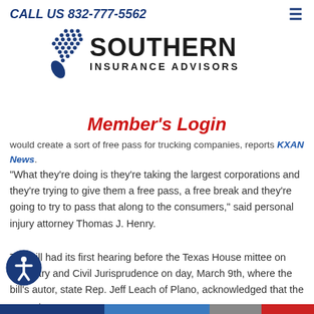CALL US 832-777-5562
[Figure (logo): Southern Insurance Advisors logo with blue dot pattern and company name]
Member's Login
would create a sort of free pass for trucking companies, reports KXAN News.
"What they're doing is they're taking the largest corporations and they're trying to give them a free pass, a free break and they're going to try to pass that along to the consumers," said personal injury attorney Thomas J. Henry.
The bill had its first hearing before the Texas House mittee on Judiciary and Civil Jurisprudence on day, March 9th, where the bill's autor, state Rep. Jeff Leach of Plano, acknowledged that the current